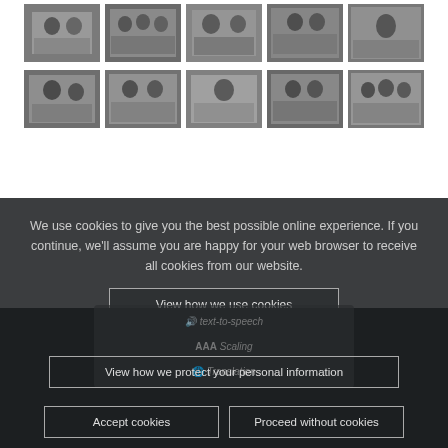[Figure (photo): Grid of black and white photographs arranged in two rows of five, showing various group photos of people]
We use cookies to give you the best possible online experience. If you continue, we'll assume you are happy for your web browser to receive all cookies from our website.
View how we use cookies
View how we protect your personal information
Accept cookies
Proceed without cookies